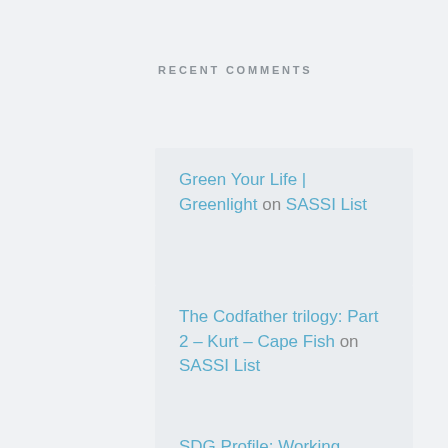RECENT COMMENTS
Green Your Life | Greenlight on SASSI List
The Codfather trilogy: Part 2 – Kurt – Cape Fish on SASSI List
SDG Profile: Working Doggedly To Prevent Poaching – Accountancy SA on SASSI List
Local Catches – Reel Angling